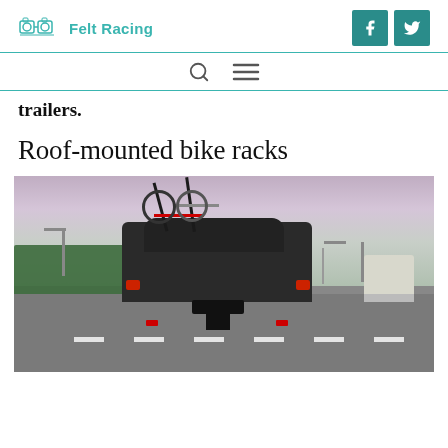Felt Racing
trailers.
Roof-mounted bike racks
[Figure (photo): A dark-colored car driving on a highway with multiple bicycles mounted on a rear bike rack, taken from behind. Green trees line the left side, street lights visible in background, another white vehicle in right lane. Purple-pink sky overhead.]